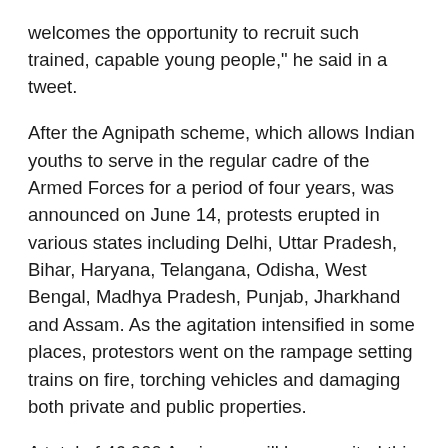welcomes the opportunity to recruit such trained, capable young people," he said in a tweet. After the Agnipath scheme, which allows Indian youths to serve in the regular cadre of the Armed Forces for a period of four years, was announced on June 14, protests erupted in various states including Delhi, Uttar Pradesh, Bihar, Haryana, Telangana, Odisha, West Bengal, Madhya Pradesh, Punjab, Jharkhand and Assam. As the agitation intensified in some places, protestors went on the rampage setting trains on fire, torching vehicles and damaging both private and public properties. A total of 46,000 Agniveers will be recruited this year but a top military officer said it will go up to 1.25 lakhs in near future. The entry age for all new recruits in the Armed Forces has been fixed as 17.5 to 21 years of age. However, following protests, the central government announced an increase in the upper age limit for the recruitment of Agniveers from 21 years to 23 years for the recruitment